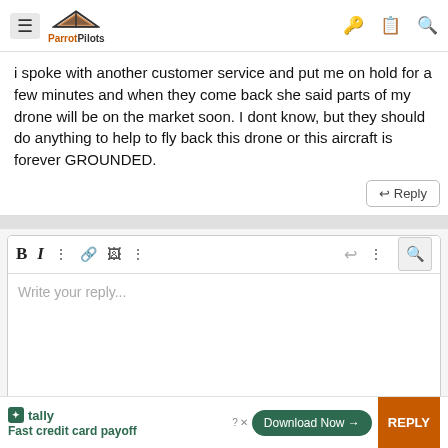ParrotPilots
i spoke with another customer service and put me on hold for a few minutes and when they come back she said parts of my drone will be on the market soon. I dont know, but they should do anything to help to fly back this drone or this aircraft is forever GROUNDED.
[Figure (screenshot): Reply button with arrow icon]
[Figure (screenshot): Text editor compose area with toolbar icons (Bold, Italic, more options, link, image, more) and placeholder text 'Write your reply...']
[Figure (screenshot): Advertisement bar: Tally app - Fast credit card payoff, with Download Now button and REPLY button]